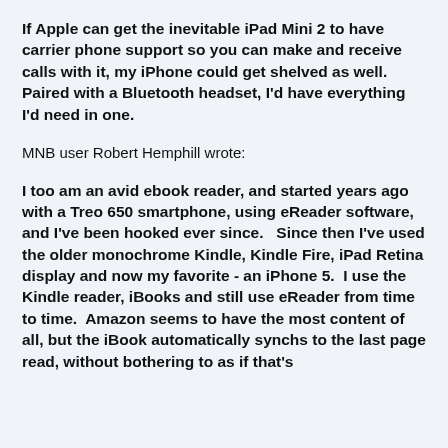If Apple can get the inevitable iPad Mini 2 to have carrier phone support so you can make and receive calls with it, my iPhone could get shelved as well. Paired with a Bluetooth headset, I'd have everything I'd need in one.
MNB user Robert Hemphill wrote:
I too am an avid ebook reader, and started years ago with a Treo 650 smartphone, using eReader software, and I've been hooked ever since.   Since then I've used the older monochrome Kindle, Kindle Fire, iPad Retina display and now my favorite - an iPhone 5.  I use the Kindle reader, iBooks and still use eReader from time to time.  Amazon seems to have the most content of all, but the iBook automatically synchs to the last page read, without bothering to as if that's